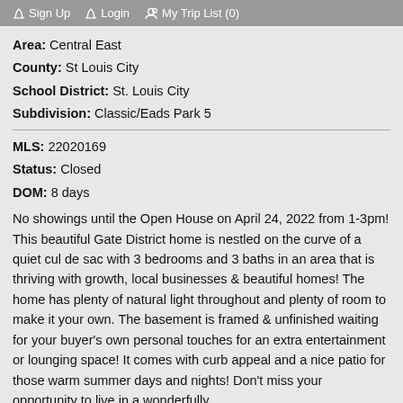Sign Up  Login  My Trip List (0)
Area: Central East
County: St Louis City
School District: St. Louis City
Subdivision: Classic/Eads Park 5
MLS: 22020169
Status: Closed
DOM: 8 days
No showings until the Open House on April 24, 2022 from 1-3pm! This beautiful Gate District home is nestled on the curve of a quiet cul de sac with 3 bedrooms and 3 baths in an area that is thriving with growth, local businesses & beautiful homes! The home has plenty of natural light throughout and plenty of room to make it your own. The basement is framed & unfinished waiting for your buyer's own personal touches for an extra entertainment or lounging space! It comes with curb appeal and a nice patio for those warm summer days and nights! Don't miss your opportunity to live in a wonderfully